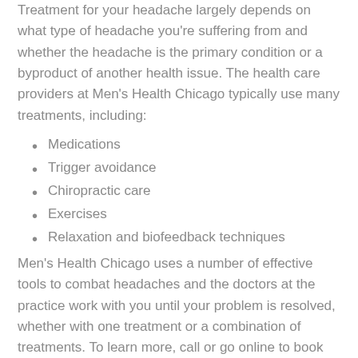Treatment for your headache largely depends on what type of headache you're suffering from and whether the headache is the primary condition or a byproduct of another health issue. The health care providers at Men's Health Chicago typically use many treatments, including:
Medications
Trigger avoidance
Chiropractic care
Exercises
Relaxation and biofeedback techniques
Men's Health Chicago uses a number of effective tools to combat headaches and the doctors at the practice work with you until your problem is resolved, whether with one treatment or a combination of treatments. To learn more, call or go online to book an appointment.